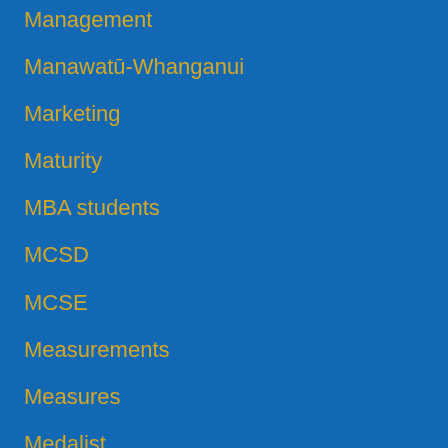Management
Manawatū-Whanganui
Marketing
Maturity
MBA students
MCSD
MCSE
Measurements
Measures
Medalist